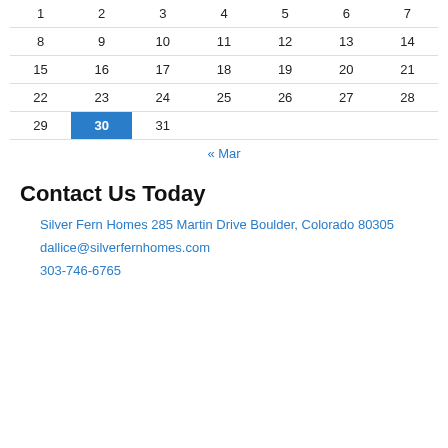|  |  |  |  |  |  |  |
| --- | --- | --- | --- | --- | --- | --- |
| 1 | 2 | 3 | 4 | 5 | 6 | 7 |
| 8 | 9 | 10 | 11 | 12 | 13 | 14 |
| 15 | 16 | 17 | 18 | 19 | 20 | 21 |
| 22 | 23 | 24 | 25 | 26 | 27 | 28 |
| 29 | 30 | 31 |  |  |  |  |
« Mar
Contact Us Today
Silver Fern Homes 285 Martin Drive Boulder, Colorado 80305
dallice@silverfernhomes.com
303-746-6765